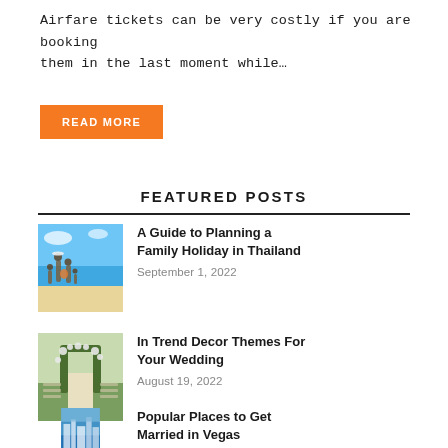Airfare tickets can be very costly if you are booking them in the last moment while…
READ MORE
FEATURED POSTS
A Guide to Planning a Family Holiday in Thailand
September 1, 2022
In Trend Decor Themes For Your Wedding
August 19, 2022
Popular Places to Get Married in Vegas